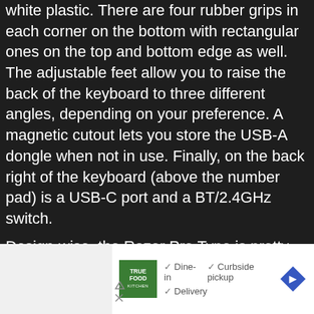white plastic. There are four rubber grips in each corner on the bottom with rectangular ones on the top and bottom edge as well. The adjustable feet allow you to raise the back of the keyboard to three different angles, depending on your preference. A magnetic cutout lets you store the USB-A dongle when not in use. Finally, on the back right of the keyboard (above the number pad) is a USB-C port and a BT/2.4GHz switch.
Design-wise, the Razer Pro Type is pretty solid, save one exception. I found that when the backlight is on, anything below 75% made it hard to read the letters. When off or maxed out, the letters on the keycaps were visible just fine.
[Figure (other): Advertisement for True Food Kitchen showing logo, dine-in, curbside pickup, and delivery options with a navigation/directions diamond icon]